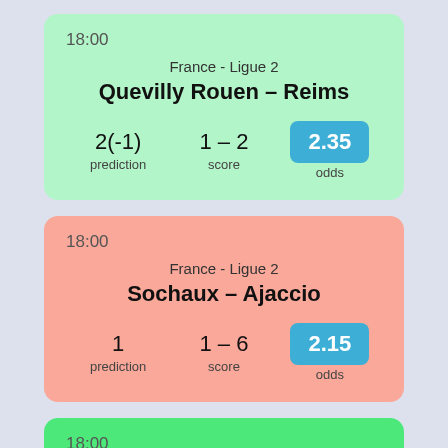18:00 | France - Ligue 2 | Quevilly Rouen – Reims | prediction: 2(-1) | score: 1 – 2 | odds: 2.35
18:00 | France - Ligue 2 | Sochaux – Ajaccio | prediction: 1 | score: 1 – 6 | odds: 2.15
18:00 | France - Ligue 2 | (partial card visible)